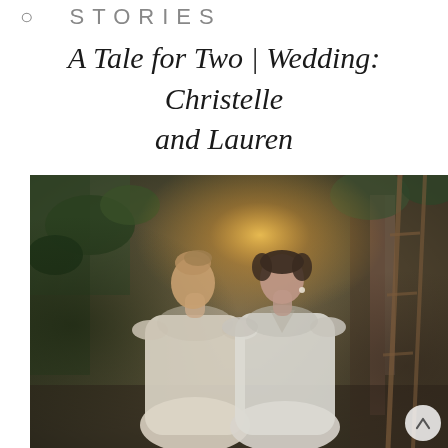STORIES
A Tale for Two | Wedding: Christelle and Lauren
[Figure (photo): Two brides in white lace wedding dresses facing each other in a greenhouse or garden setting with hanging plants, warm golden backlight, and a wooden ladder visible on the right. One bride has an updo with a hair accessory; the other has short dark hair.]